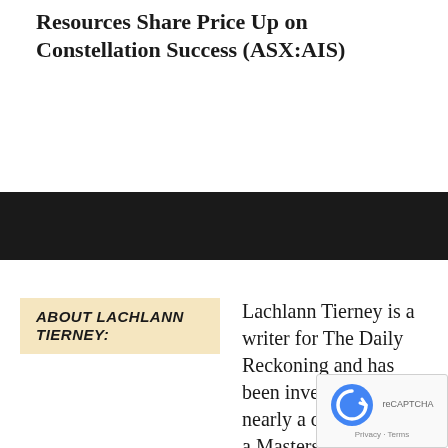Resources Share Price Up on Constellation Success (ASX:AIS)
[Figure (other): Black horizontal banner/divider bar]
ABOUT LACHLANN TIERNEY: Lachlann Tierney is a writer for The Daily Reckoning and has been investing for nearly a decade. With a Masters of Science from London Scho...